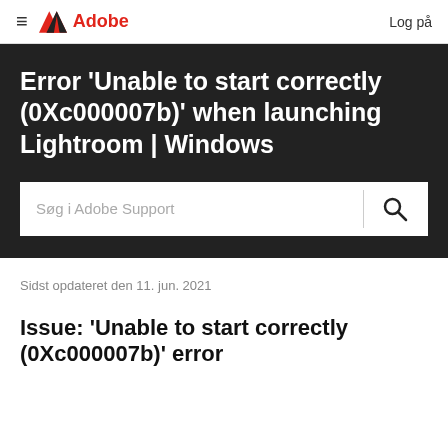≡  Adobe  Log på
Error 'Unable to start correctly (0Xc000007b)' when launching Lightroom | Windows
Søg i Adobe Support
Sidst opdateret den 11. jun. 2021
Issue: 'Unable to start correctly (0Xc000007b)' error